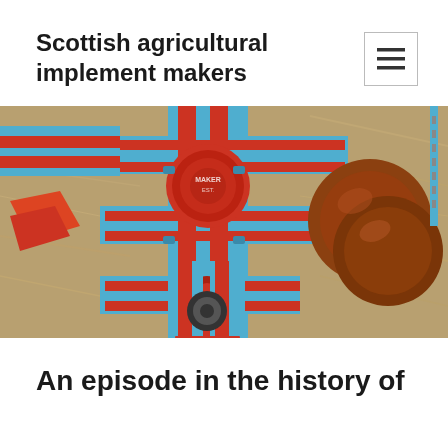Scottish agricultural implement makers
[Figure (photo): Close-up photograph of a blue and red agricultural implement (plow or disc harrow), showing metal frame with red oval emblem/badge in the center, red trim pieces along the frame, and large brown/rust-colored disc blades on the right side. Background shows dry straw/stubble field.]
An episode in the history of